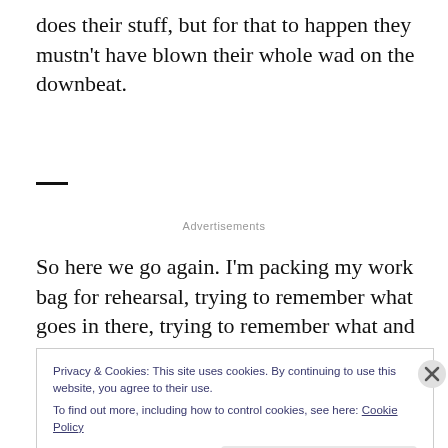does their stuff, but for that to happen they mustn't have blown their whole wad on the downbeat.
So here we go again. I'm packing my work bag for rehearsal, trying to remember what goes in there, trying to remember what and when I need to eat and drink and
Privacy & Cookies: This site uses cookies. By continuing to use this website, you agree to their use.
To find out more, including how to control cookies, see here: Cookie Policy